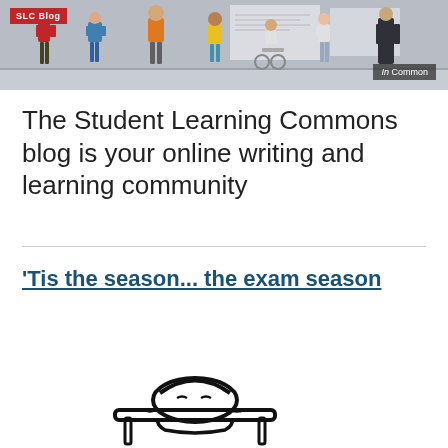[Figure (illustration): SLC Blog banner with illustrated diverse student characters on a grey background. Red 'SLC Blog' badge top-left. 'In Common' badge bottom-right.]
The Student Learning Commons blog is your online writing and learning community
'Tis the season... the exam season
[Figure (illustration): Black and white line drawing of a person slumped over a desk or table, appearing stressed or tired, likely studying for exams.]